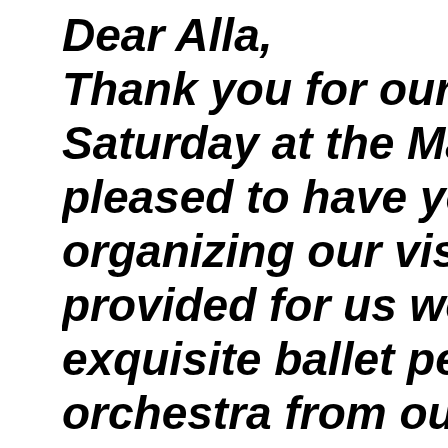Dear Alla, Thank you for our wonderful evening on Saturday at the Marinsky. We were so pleased to have your kind help in organizing our visit to the theatre, you provided for us wonderful seats and exquisite ballet performances. The orchestra from our box was a great view and the whole evening was mesmerizing, made our trip to St. Petersburg